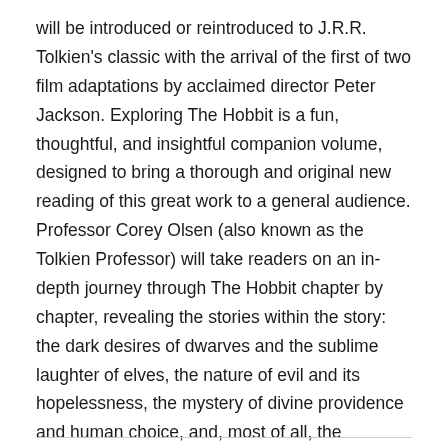will be introduced or reintroduced to J.R.R. Tolkien's classic with the arrival of the first of two film adaptations by acclaimed director Peter Jackson. Exploring The Hobbit is a fun, thoughtful, and insightful companion volume, designed to bring a thorough and original new reading of this great work to a general audience. Professor Corey Olsen (also known as the Tolkien Professor) will take readers on an in-depth journey through The Hobbit chapter by chapter, revealing the stories within the story: the dark desires of dwarves and the sublime laughter of elves, the nature of evil and its hopelessness, the mystery of divine providence and human choice, and, most of all, the revolutions within the life of Bilbo Baggins. Exploring The Hobbit is a book that will make The Hobbit come alive for readers as never before.